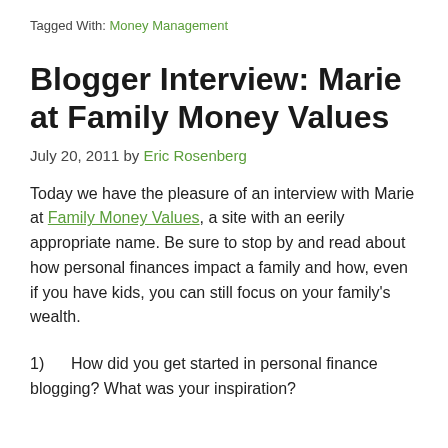Tagged With: Money Management
Blogger Interview: Marie at Family Money Values
July 20, 2011 by Eric Rosenberg
Today we have the pleasure of an interview with Marie at Family Money Values, a site with an eerily appropriate name. Be sure to stop by and read about how personal finances impact a family and how, even if you have kids, you can still focus on your family's wealth.
1)      How did you get started in personal finance blogging? What was your inspiration?